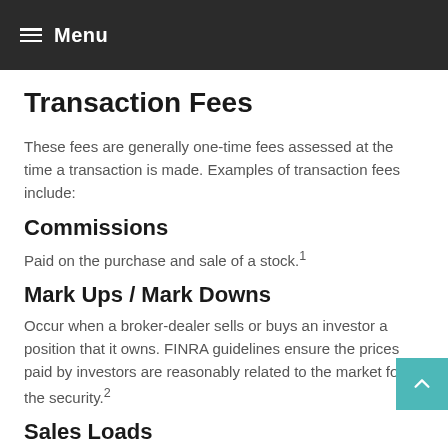Menu
Transaction Fees
These fees are generally one-time fees assessed at the time a transaction is made. Examples of transaction fees include:
Commissions
Paid on the purchase and sale of a stock.¹
Mark Ups / Mark Downs
Occur when a broker-dealer sells or buys an investor a position that it owns. FINRA guidelines ensure the prices paid by investors are reasonably related to the market for the security.²
Sales Loads